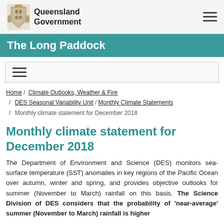Queensland Government
The Long Paddock
Home / Climate Outlooks, Weather & Fire / DES Seasonal Variability Unit / Monthly Climate Statements / Monthly climate statement for December 2018
Monthly climate statement for December 2018
The Department of Environment and Science (DES) monitors sea-surface temperature (SST) anomalies in key regions of the Pacific Ocean over autumn, winter and spring, and provides objective outlooks for summer (November to March) rainfall on this basis. The Science Division of DES considers that the probability of 'near-average' summer (November to March) rainfall is higher